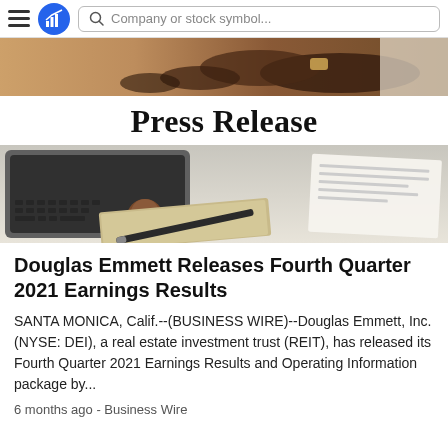Company or stock symbol...
[Figure (photo): Close-up photo of hands, dark-skinned person wearing a watch, appearing to be in a business context]
Press Release
[Figure (photo): Photo of a laptop keyboard, a brown leather journal/notebook, a pen, and papers on a desk]
Douglas Emmett Releases Fourth Quarter 2021 Earnings Results
SANTA MONICA, Calif.--(BUSINESS WIRE)--Douglas Emmett, Inc. (NYSE: DEI), a real estate investment trust (REIT), has released its Fourth Quarter 2021 Earnings Results and Operating Information package by...
6 months ago - Business Wire